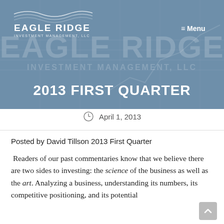[Figure (logo): Eagle Ridge Investment Management LLC logo with wave graphic, white text on blue-grey banner background]
≡  Menu
2013 FIRST QUARTER
April 1, 2013
Posted by David Tillson 2013 First Quarter
Readers of our past commentaries know that we believe there are two sides to investing: the science of the business as well as the art. Analyzing a business, understanding its numbers, its competitive positioning, and its potential